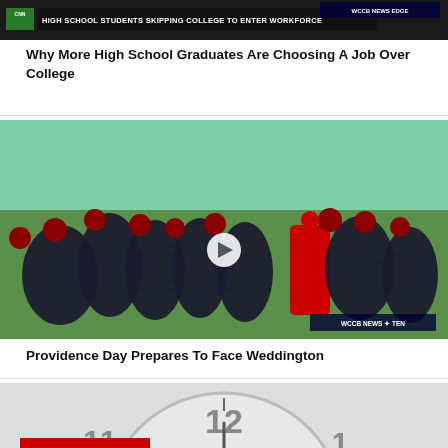[Figure (screenshot): TV news screenshot showing CNN broadcast with headline 'HIGH SCHOOL STUDENTS SKIPPING COLLEGE TO ENTER WORKFORCE' with WCCB NEWS EDGE banner]
Why More High School Graduates Are Choosing A Job Over College
[Figure (photo): Football players in dark uniforms with red helmets huddling around a coach in a red shirt on a green field, with WCCB NEWS TEN logo and a play button overlay]
Providence Day Prepares To Face Weddington
[Figure (photo): Close-up of a clock face showing numbers 11, 12, 1, 2 with a red bar at the bottom, partially cut off]